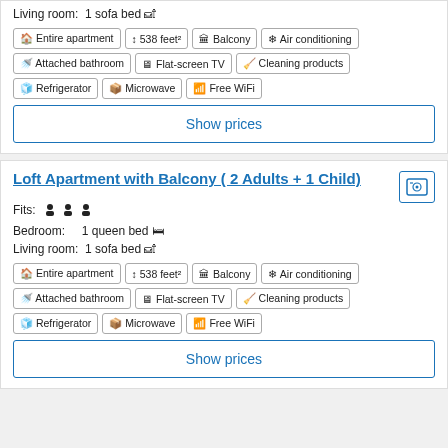Living room: 1 sofa bed
Entire apartment
538 feet²
Balcony
Air conditioning
Attached bathroom
Flat-screen TV
Cleaning products
Refrigerator
Microwave
Free WiFi
Show prices
Loft Apartment with Balcony ( 2 Adults + 1 Child)
Fits: [3 person icons]
Bedroom: 1 queen bed
Living room: 1 sofa bed
Entire apartment
538 feet²
Balcony
Air conditioning
Attached bathroom
Flat-screen TV
Cleaning products
Refrigerator
Microwave
Free WiFi
Show prices